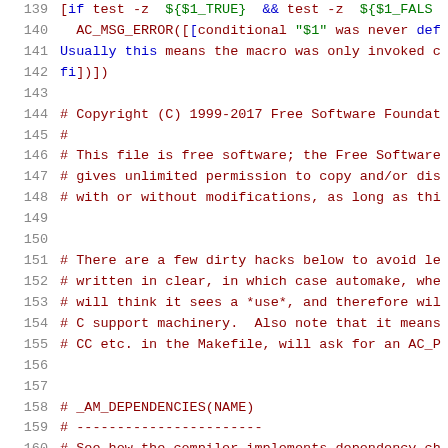[Figure (screenshot): Source code listing showing shell/autoconf script lines 139-160 with syntax highlighting. Line numbers in gray on left, code in dark red/maroon with blue and green keywords highlighted.]